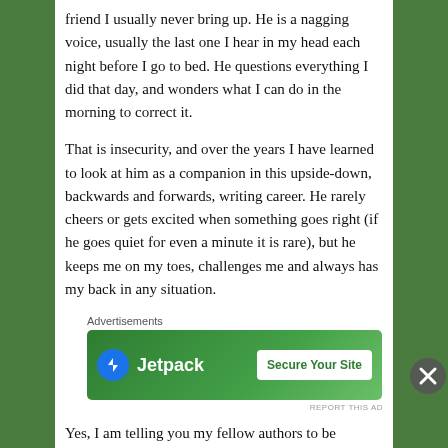friend I usually never bring up. He is a nagging voice, usually the last one I hear in my head each night before I go to bed. He questions everything I did that day, and wonders what I can do in the morning to correct it.
That is insecurity, and over the years I have learned to look at him as a companion in this upside-down, backwards and forwards, writing career. He rarely cheers or gets excited when something goes right (if he goes quiet for even a minute it is rare), but he keeps me on my toes, challenges me and always has my back in any situation.
Advertisements
[Figure (screenshot): Jetpack advertisement banner: green background with Jetpack logo and 'Secure Your Site' button]
Yes, I am telling you my fellow authors to be insecure! Fill
Advertisements
[Figure (screenshot): WordPress advertisement banner: gradient background with 'Create immersive stories.' text and 'GET THE APP' with WordPress logo]